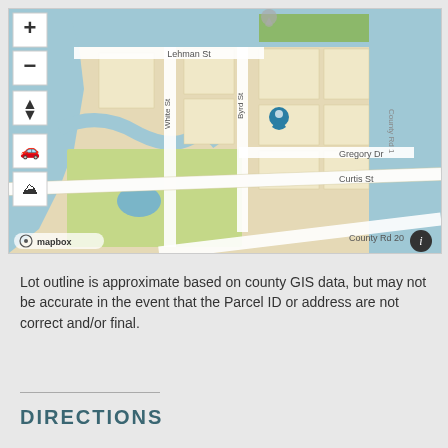[Figure (map): Mapbox street map showing a location pin (blue teardrop marker) on Gregory Dr area. Map includes streets: Lehman St, White St, Byrd St, Gregory Dr, Curtis St, County Rd 20. Water/river area visible on left and top. Green park area bottom center. Map controls (zoom +/-, north arrow, car icon, terrain icon) on left side. Mapbox logo and info button visible.]
Lot outline is approximate based on county GIS data, but may not be accurate in the event that the Parcel ID or address are not correct and/or final.
DIRECTIONS